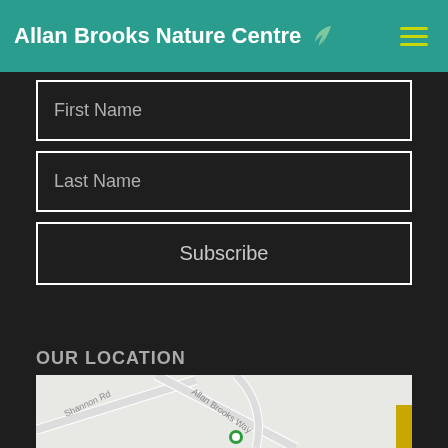Allan Brooks Nature Centre
First Name
Last Name
Subscribe
OUR LOCATION
[Figure (map): Street map showing Allan Brooks Way and Shannon Rd near Allan Brooks Nature Centre]